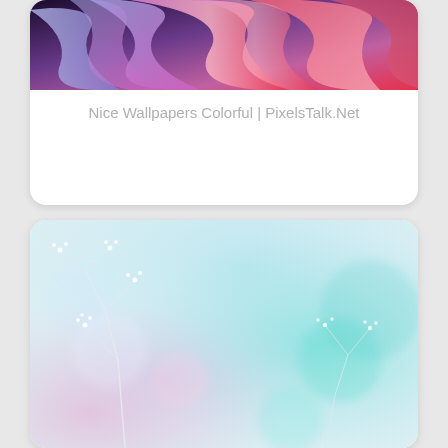[Figure (illustration): Card with abstract colorful swirling ribbons wallpaper image on top (purples, pinks, reds, blues), and caption text below reading 'Nice Wallpapers Colorful | PixelsTalk.Net']
Nice Wallpapers Colorful | PixelsTalk.Net
[Figure (photo): Card with a soft pastel bokeh background image featuring delicate white wildflowers against a dreamy gradient of pink, purple, and teal/cyan blurred colors.]